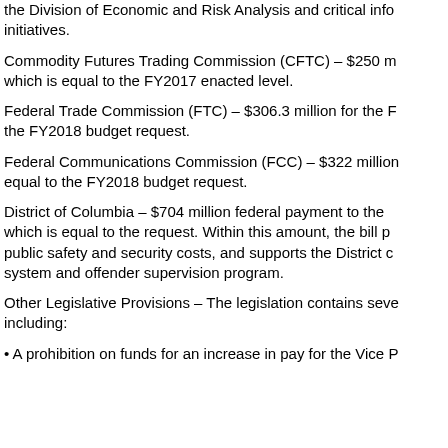the Division of Economic and Risk Analysis and critical info initiatives.
Commodity Futures Trading Commission (CFTC) – $250 m which is equal to the FY2017 enacted level.
Federal Trade Commission (FTC) – $306.3 million for the F the FY2018 budget request.
Federal Communications Commission (FCC) – $322 million equal to the FY2018 budget request.
District of Columbia – $704 million federal payment to the which is equal to the request. Within this amount, the bill p public safety and security costs, and supports the District c system and offender supervision program.
Other Legislative Provisions – The legislation contains seve including:
• A prohibition on funds for an increase in pay for the Vice P